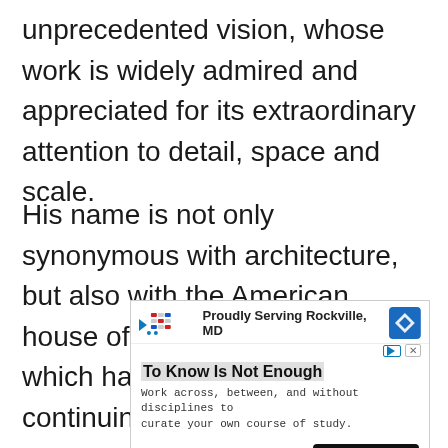unprecedented vision, whose work is widely admired and appreciated for its extraordinary attention to detail, space and scale.
His name is not only synonymous with architecture, but also with the American house of the twentieth century, which has been the subject of continuing interest and controversy.
[Figure (other): Advertisement for Hampshire College: 'Proudly Serving Rockville, MD' logo with 'To Know Is Not Enough' headline. Body text: 'Work across, between, and without disciplines to curate your own course of study.' Footer: 'Hampshire College' and a 'Learn More' button.]